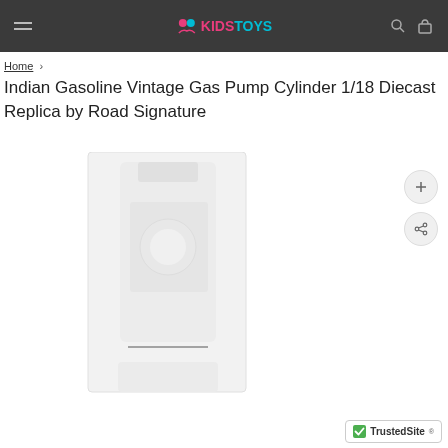KIDSTOYS navigation bar
Home >
Indian Gasoline Vintage Gas Pump Cylinder 1/18 Diecast Replica by Road Signature
[Figure (photo): Product image of Indian Gasoline Vintage Gas Pump Cylinder 1/18 Diecast Replica, shown as a faint/loading placeholder image with zoom and share action buttons on the right side]
TrustedSite